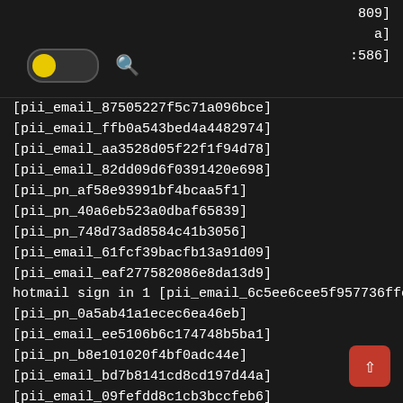809]
a]
:586]
[Figure (screenshot): Toggle switch (yellow) and search icon in dark header bar]
[pii_email_87505227f5c71a096bce]
[pii_email_ffb0a543bed4a4482974]
[pii_email_aa3528d05f22f1f94d78]
[pii_email_82dd09d6f0391420e698]
[pii_pn_af58e93991bf4bcaa5f1]
[pii_pn_40a6eb523a0dbaf65839]
[pii_pn_748d73ad8584c41b3056]
[pii_email_61fcf39bacfb13a91d09]
[pii_email_eaf277582086e8da13d9]
hotmail sign in 1 [pii_email_6c5ee6cee5f957736ffc]
[pii_pn_0a5ab41a1ecec6ea46eb]
[pii_email_ee5106b6c174748b5ba1]
[pii_pn_b8e101020f4bf0adc44e]
[pii_email_bd7b8141cd8cd197d44a]
[pii_email_09fefdd8c1cb3bccfeb6]
[pii_email_cca44d466439e96cd6ed]
[pii_email_534f6280ad857c92ee2d]
[pii_pn_047ab7a9f518f2b33392]
[pii_pn_253c0397783b554a4662]
[pii_email_fac20b28ca7fd86484f1]